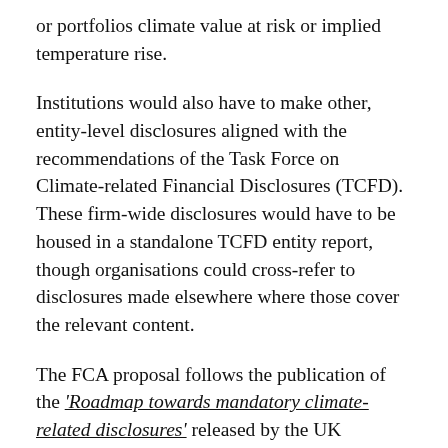or portfolios climate value at risk or implied temperature rise.
Institutions would also have to make other, entity-level disclosures aligned with the recommendations of the Task Force on Climate-related Financial Disclosures (TCFD). These firm-wide disclosures would have to be housed in a standalone TCFD entity report, though organisations could cross-refer to disclosures made elsewhere where those cover the relevant content.
The FCA proposal follows the publication of the ‘Roadmap towards mandatory climate-related disclosures’ released by the UK Treasury in November last year. This lays out a strategy for UK authorities to introduce climate disclosure mandates for all kinds of public and private organisations, starting with banks, large occupational pension schemes and premium listed